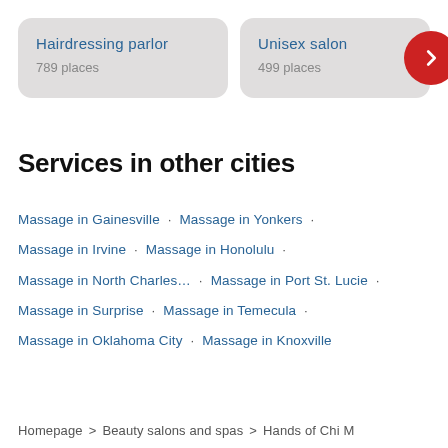Hairdressing parlor
789 places
Unisex salon
499 places
Services in other cities
Massage in Gainesville · Massage in Yonkers ·
Massage in Irvine · Massage in Honolulu ·
Massage in North Charles... · Massage in Port St. Lucie ·
Massage in Surprise · Massage in Temecula ·
Massage in Oklahoma City · Massage in Knoxville
Homepage > Beauty salons and spas > Hands of Chi M